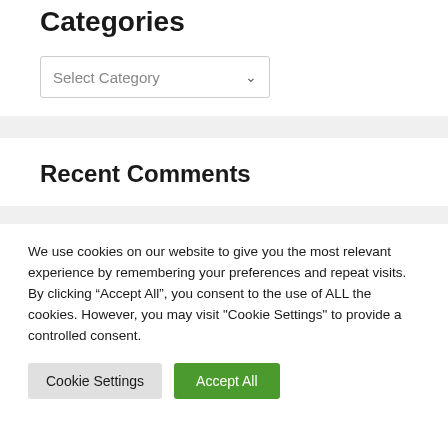Categories
[Figure (screenshot): A dropdown selector with text 'Select Category' and a chevron arrow on the right, inside a light-bordered box.]
Recent Comments
We use cookies on our website to give you the most relevant experience by remembering your preferences and repeat visits. By clicking “Accept All”, you consent to the use of ALL the cookies. However, you may visit "Cookie Settings" to provide a controlled consent.
Cookie Settings | Accept All